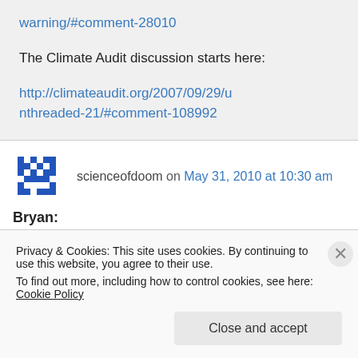warning/#comment-28010
The Climate Audit discussion starts here:
http://climateaudit.org/2007/09/29/unthreaded-21/#comment-108992
scienceofdoom on May 31, 2010 at 10:30 am
Bryan:
Privacy & Cookies: This site uses cookies. By continuing to use this website, you agree to their use.
To find out more, including how to control cookies, see here: Cookie Policy
Close and accept